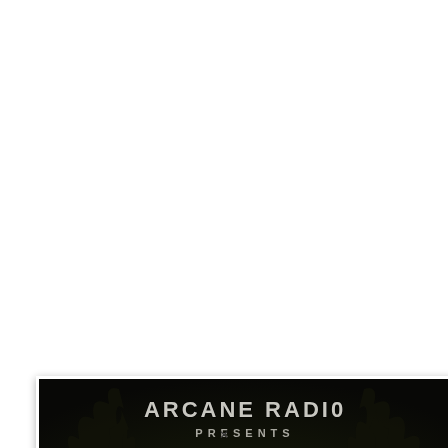[Figure (illustration): Arcane Radio banner with dark background showing tree silhouettes. Top text reads 'ARCANE RADIO' in distressed white font, below it 'PRESENTS' in white, and large yellow text 'ANNA MANALO' at the bottom.]